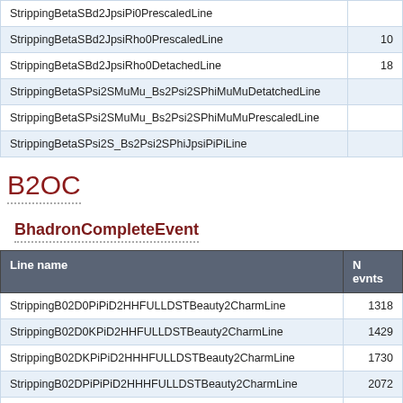| Line name | N evnts |
| --- | --- |
| StrippingBetaSBd2JpsiPi0PrescaledLine |  |
| StrippingBetaSBd2JpsiRho0PrescaledLine | 10 |
| StrippingBetaSBd2JpsiRho0DetachedLine | 18 |
| StrippingBetaSPsi2SMuMu_Bs2Psi2SPhiMuMuDetatchedLine |  |
| StrippingBetaSPsi2SMuMu_Bs2Psi2SPhiMuMuPrescaledLine |  |
| StrippingBetaSPsi2S_Bs2Psi2SPhiJpsiPiPiLine |  |
B2OC
BhadronCompleteEvent
| Line name | N evnts |
| --- | --- |
| StrippingB02D0PiPiD2HHFULLDSTBeauty2CharmLine | 1318 |
| StrippingB02D0KPiD2HHFULLDSTBeauty2CharmLine | 1429 |
| StrippingB02DKPiPiD2HHHFULLDSTBeauty2CharmLine | 1730 |
| StrippingB02DPiPiPiD2HHHFULLDSTBeauty2CharmLine | 2072 |
| StrippingB02DDFULLDSTBeauty2CharmLine | 1163 |